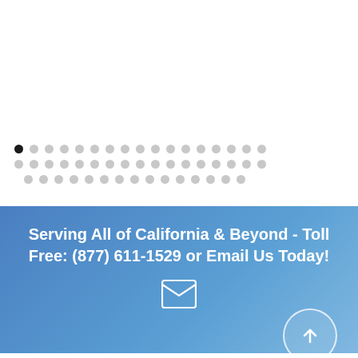[Figure (illustration): Three rows of decorative dots/circles in gray, with the first dot in the first row being dark/black, arranged as a carousel or slider indicator pattern]
Serving All of California & Beyond - Toll Free: (877) 611-1529 or Email Us Today!
[Figure (illustration): White envelope icon (open envelope) centered below the banner text, and a circular scroll-to-top button with an upward arrow on the right side]
Copyright 2019 The Law Offices of William D. Shapiro | Design/Development by Creative 7 Designs, Inc. | Privacy Policy